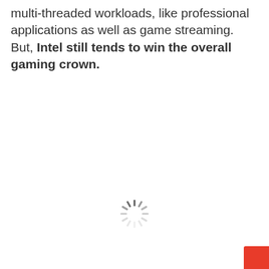multi-threaded workloads, like professional applications as well as game streaming. But, Intel still tends to win the overall gaming crown.
[Figure (other): Loading spinner icon (circular dashed spinner graphic) centered on the page]